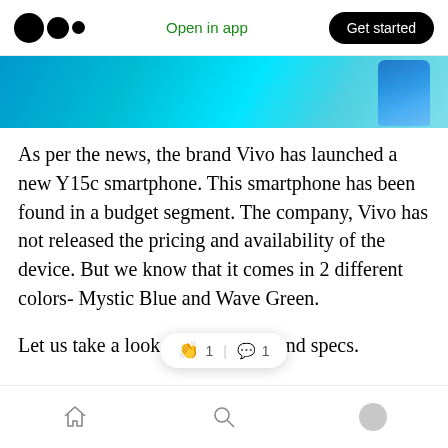Open in app | Get started
[Figure (photo): Partial hero image showing a blue gradient background with a smartphone corner visible on the right]
As per the news, the brand Vivo has launched a new Y15c smartphone. This smartphone has been found in a budget segment. The company, Vivo has not released the pricing and availability of the device. But we know that it comes in 2 different colors- Mystic Blue and Wave Green.
Let us take a look at its features and specs.
The Y15C by Vivo 👏 1 | 💬 1 5.51-inches HD plus screen display with 720 x 1600 pixel
Home | Search | Profile